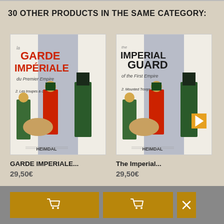30 OTHER PRODUCTS IN THE SAME CATEGORY:
[Figure (illustration): Book cover of 'La Garde Impériale du Premier Empire - 2. Les troupes à cheval' by Heimdal, showing illustrated Napoleonic soldiers in uniform]
GARDE IMPERIALE...
29,50€
[Figure (illustration): Book cover of 'The Imperial Guard of the First Empire - 2. Mounted Troops' by Heimdal, showing illustrated Napoleonic soldiers in uniform]
The Imperial...
29,50€